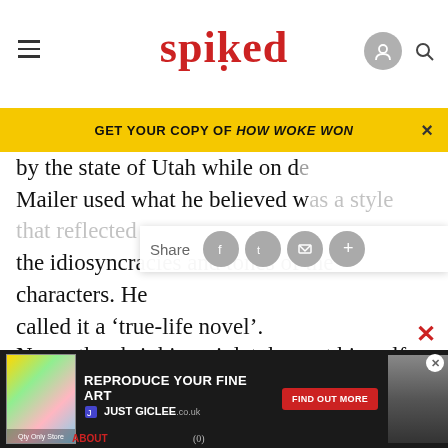spiked
GET YOUR COPY OF HOW WOKE WON
by the state of Utah while on de... Mailer used what he believed was a style that reflected the idiosyncracies and tones of the characters. He called it a ‘true-life novel’.
Never the shrinking violet, he cast himself as the reigning champion of his contemporaries and had flaring fallouts with several of them, as well as verbally heated ‘debates’ with feminists like Germaine Greer. He didn’t shy away from physical altercations.
[Figure (screenshot): Bottom advertisement banner: REPRODUCE YOUR FINE ART / JUST GICLEE.co.uk with FIND OUT MORE button]